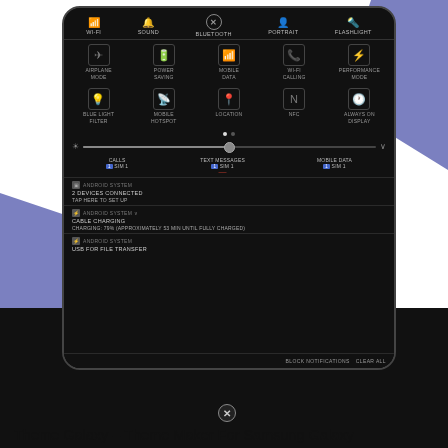[Figure (screenshot): Samsung Galaxy phone screenshot showing quick settings panel with Wi-Fi, Sound, Bluetooth (with X), Portrait, Flashlight in top row; Airplane Mode, Power Saving, Mobile Data, Wi-Fi Calling, Performance Mode in second row; Blue Light Filter, Mobile Hotspot, Location, NFC, Always On Display in third row; pagination dots; brightness slider; SIM selection for Calls (SIM 1), Text Messages (SIM 1), Mobile Data (SIM 1); Android System notification showing 2 devices connected tap here to set up; Android System cable charging 79% approximately 53 min until fully charged; Android System USB for file transfer; Block Notifications and Clear All buttons at bottom.]
Theme Galaxy – Theme Maker For Samsung Galaxy